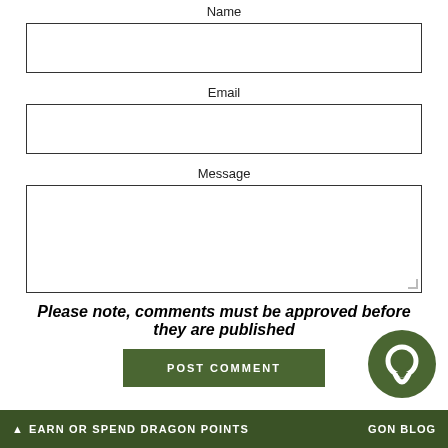Name
[Figure (screenshot): Empty text input field for Name]
Email
[Figure (screenshot): Empty text input field for Email]
Message
[Figure (screenshot): Empty textarea field for Message]
Please note, comments must be approved before they are published
POST COMMENT
[Figure (illustration): Green circular chat bubble icon in bottom right]
EARN OR SPEND DRAGON POINTS   GOON BLOG